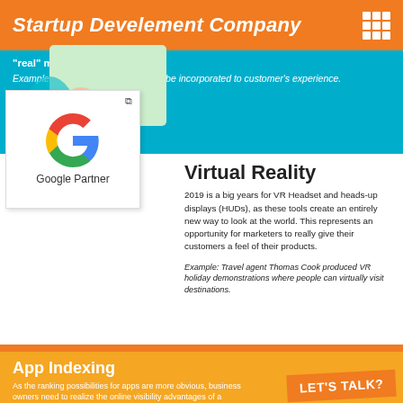Startup Develement Company
"real" marketing.
Example: Technology should further be incorporated to customer's experience.
[Figure (logo): Google Partner logo with colorful G icon]
Virtual Reality
2019 is a big years for VR Headset and heads-up displays (HUDs), as these tools create an entirely new way to look at the world. This represents an opportunity for marketers to really give their customers a feel of their products.
Example: Travel agent Thomas Cook produced VR holiday demonstrations where people can virtually visit destinations.
[Figure (illustration): Person wearing VR headset sitting on a ball, looking at a virtual scene]
App Indexing
As the ranking possibilities for apps are more obvious, business owners need to realize the online visibility advantages of a dedicated app.
Example: focus on building a value adding app for customers. Vivmo is a hugely successful wine label scanning app with over 14m app users.
[Figure (screenshot): Screenshot of app interface on mobile device]
LET'S TALK?